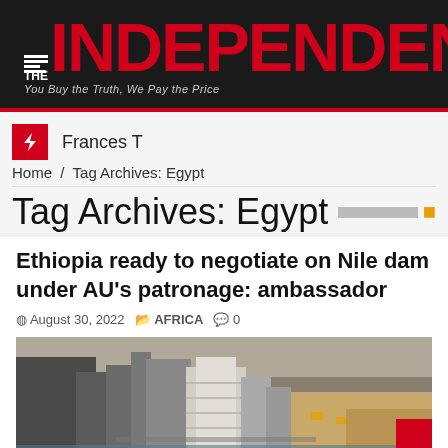THE INDEPENDENT — You Buy the Truth, We Pay the Price
Frances T
Home / Tag Archives: Egypt
Tag Archives: Egypt
Ethiopia ready to negotiate on Nile dam under AU's patronage: ambassador
August 30, 2022  AFRICA  0
[Figure (photo): Aerial view of the Grand Ethiopian Renaissance Dam (GERD) construction site on the Nile River, showing large dam structure, concrete walls, and surrounding excavated terrain.]